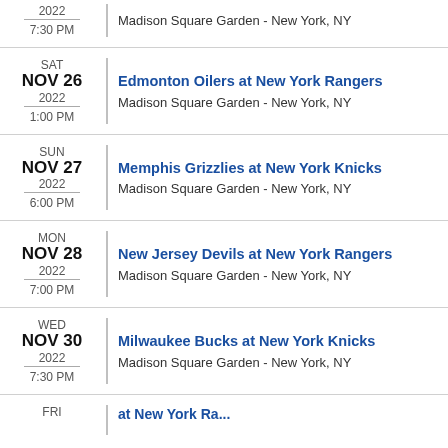2022 7:30 PM | Madison Square Garden - New York, NY
SAT NOV 26 2022 1:00 PM | Edmonton Oilers at New York Rangers | Madison Square Garden - New York, NY
SUN NOV 27 2022 6:00 PM | Memphis Grizzlies at New York Knicks | Madison Square Garden - New York, NY
MON NOV 28 2022 7:00 PM | New Jersey Devils at New York Rangers | Madison Square Garden - New York, NY
WED NOV 30 2022 7:30 PM | Milwaukee Bucks at New York Knicks | Madison Square Garden - New York, NY
FRI ... at New York ...